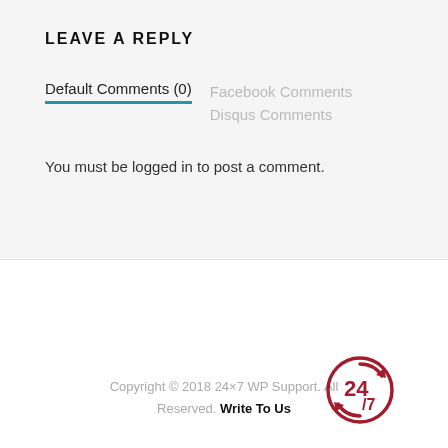LEAVE A REPLY
Default Comments (0)   Facebook Comments   Disqus Comments
You must be logged in to post a comment.
Copyright © 2018 24×7 WP Support. All Reserved.  Write To Us
[Figure (logo): 24/7 circular logo in dark red/crimson with arrows and the number 24 and a 7 below]